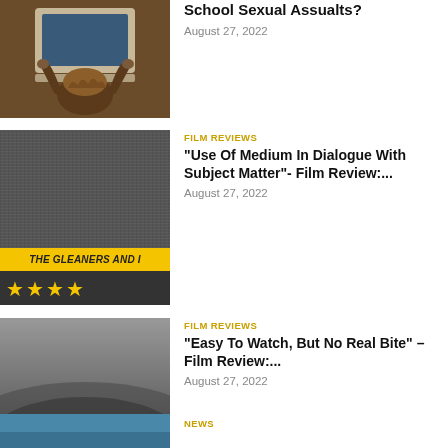[Figure (photo): Person with laptop and curly hair, overhead view, dark tones]
School Sexual Assualts?
August 27, 2022
[Figure (photo): Film poster for The Gleaners And I with yellow banner and four gold stars on dark background]
FILM REVIEWS
“Use Of Medium In Dialogue With Subject Matter”- Film Review:...
August 27, 2022
[Figure (photo): Film poster for Where the Crawdads Sing with yellow banner and two and a half gold stars on dark background]
FILM REVIEWS
“Easy To Watch, But No Real Bite” – Film Review:...
August 27, 2022
[Figure (photo): Blue sky or water partial image at bottom]
NEWS